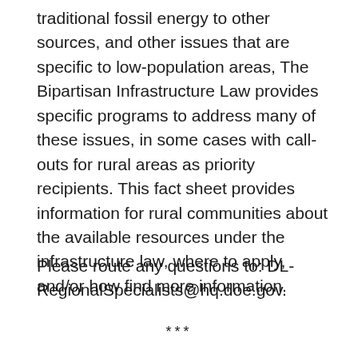traditional fossil energy to other sources, and other issues that are specific to low-population areas, The Bipartisan Infrastructure Law provides specific programs to address many of these issues, in some cases with call-outs for rural areas as priority recipients. This fact sheet provides information for rural communities about the available resources under the infrastructure law, where to apply, and/or how find more information.
Please route any questions to: DL-RegionalSpecialists@hq.doe.gov.
***